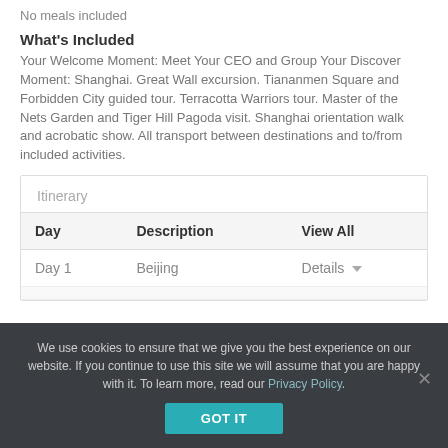No meals included
What's Included
Your Welcome Moment: Meet Your CEO and Group Your Discover Moment: Shanghai. Great Wall excursion. Tiananmen Square and Forbidden City guided tour. Terracotta Warriors tour. Master of the Nets Garden and Tiger Hill Pagoda visit. Shanghai orientation walk and acrobatic show. All transport between destinations and to/from included activities.
| Day | Description | View All |
| --- | --- | --- |
| Day 1 | Beijing | Details |
We use cookies to ensure that we give you the best experience on our website. If you continue to use this site we will assume that you are happy with it. To learn more, read our Privacy Policy.
GOT IT